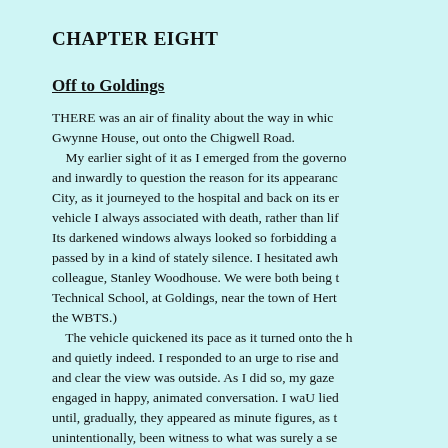CHAPTER EIGHT
Off to Goldings
THERE was an air of finality about the way in which Gwynne House, out onto the Chigwell Road. My earlier sight of it as I emerged from the governor and inwardly to question the reason for its appearance City, as it journeyed to the hospital and back on its er vehicle I always associated with death, rather than lif Its darkened windows always looked so forbidding a passed by in a kind of stately silence. I hesitated awh colleague, Stanley Woodhouse. We were both being t Technical School, at Goldings, near the town of Hert the WBTS.) The vehicle quickened its pace as it turned onto the h and quietly indeed. I responded to an urge to rise and and clear the view was outside. As I did so, my gaze engaged in happy, animated conversation. I waU lied until, gradually, they appeared as minute figures, as t unintentionally, been witness to what was surely a se My mind flashed back to all those occasions when M never any other dwelling. I recalled his wonderful sto evenings, captivated by his eloquence and sense of m